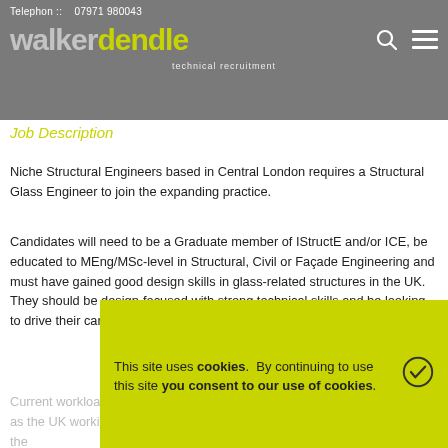Telephon :: 07971 980043  walker dendle technical recruitment
Job Description
Niche Structural Engineers based in Central London requires a Structural Glass Engineer to join the expanding practice.
Candidates will need to be a Graduate member of IStructE and/or ICE, be educated to MEng/MSc-level in Structural, Civil or Façade Engineering and must have gained good design skills in glass-related structures in the UK. They should be design-focused with strong technical skills and be looking to drive their career forward with a high-profile niche d...
Current workload is a mixture of new-build developments across ... as well as the UK working with high-profile international & UK Architects. Many of the
This site uses cookies. By continuing to use this site you consent to our use of cookies.